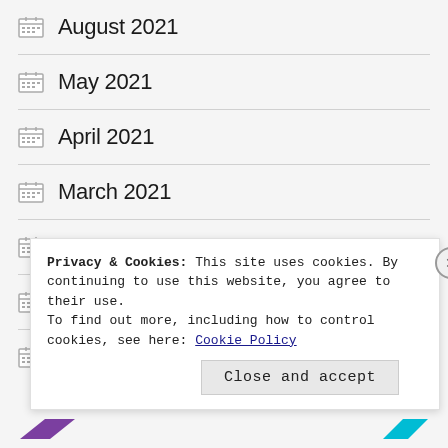August 2021
May 2021
April 2021
March 2021
December 2020
September 2020
July 2020
Privacy & Cookies: This site uses cookies. By continuing to use this website, you agree to their use.
To find out more, including how to control cookies, see here: Cookie Policy
Close and accept